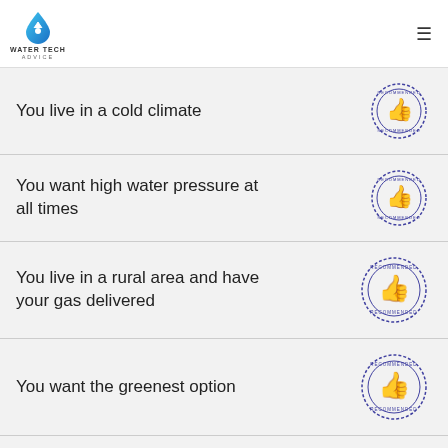WATER TECH ADVICE
You live in a cold climate
You want high water pressure at all times
You live in a rural area and have your gas delivered
You want the greenest option
You want to install the water heater yourself